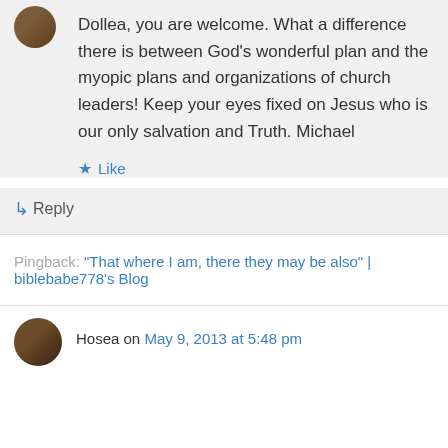Dollea, you are welcome. What a difference there is between God's wonderful plan and the myopic plans and organizations of church leaders! Keep your eyes fixed on Jesus who is our only salvation and Truth. Michael
★ Like
↳ Reply
Pingback: "That where I am, there they may be also" | biblebabe778's Blog
Hosea on May 9, 2013 at 5:48 pm